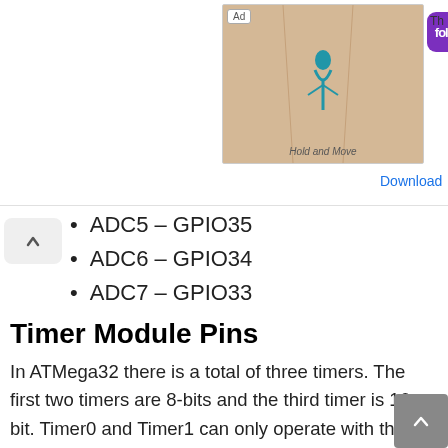[Figure (screenshot): Advertisement banner showing a mobile game (Hold and Move) with Follic app icon and Download link]
ADC5 – GPIO35
ADC6 – GPIO34
ADC7 – GPIO33
Timer Module Pins
In ATMega32 there is a total of three timers. The first two timers are 8-bits and the third timer is 16-bit. Timer0 and Timer1 can only operate with the external pulse, timer1 only operate within the microcontroller. All these timers can use internal and external oscillator, but they also can use the sperate oscillator. The sperate oscillator will be given through the specific pins. All these